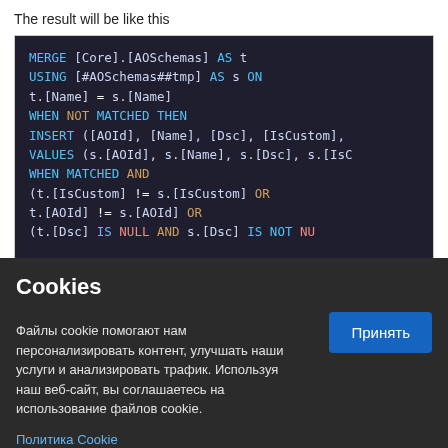The result will be like this
[Figure (screenshot): SQL code block showing a MERGE statement with USING, WHEN NOT MATCHED THEN INSERT, VALUES, WHEN MATCHED AND conditions on a dark background]
Cookies
Файлы cookie помогают нам персонализировать контент, улучшать наши услуги и анализировать трафик. Используя наш веб-сайт, вы соглашаетесь на использование файлов cookie.
Политика Cookie